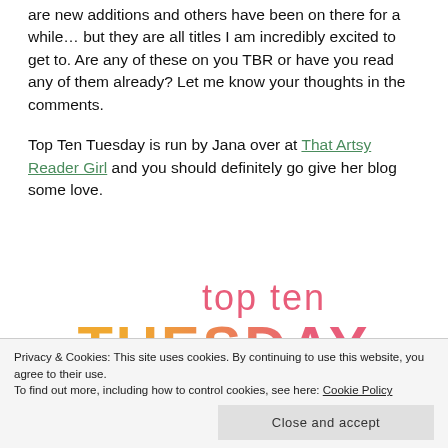are new additions and others have been on there for a while… but they are all titles I am incredibly excited to get to. Are any of these on you TBR or have you read any of them already? Let me know your thoughts in the comments.
Top Ten Tuesday is run by Jana over at That Artsy Reader Girl and you should definitely go give her blog some love.
[Figure (logo): Top Ten Tuesday logo — 'top ten' in pink script above 'TUESDAY' in large bold orange-to-pink gradient letters]
Privacy & Cookies: This site uses cookies. By continuing to use this website, you agree to their use.
To find out more, including how to control cookies, see here: Cookie Policy
Close and accept